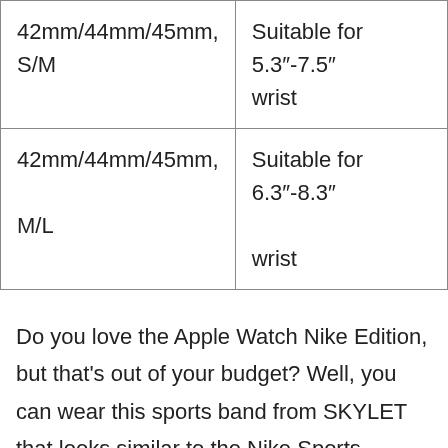| 42mm/44mm/45mm, S/M | Suitable for 5.3"-7.5" wrist |
| 42mm/44mm/45mm, M/L | Suitable for 6.3"-8.3" wrist |
Do you love the Apple Watch Nike Edition, but that's out of your budget? Well, you can wear this sports band from SKYLET that looks similar to the Nike Sports Edition band. The watch band is made using silicone, and it is sweat and waterproof.
No matter if you want to hit the gym or want to take a dip into the pool, the watchband is an exemplary